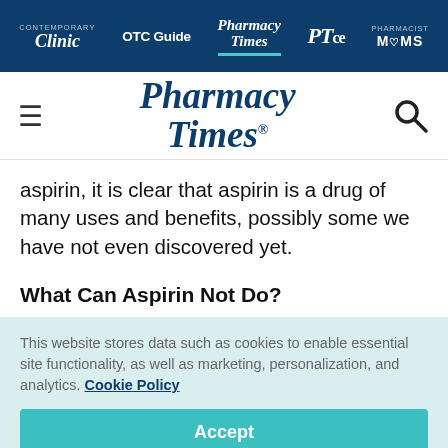Clinic | OTC Guide | Pharmacy Times | PTce | PHARMACIST MOMS
[Figure (logo): Pharmacy Times logo with hamburger menu and search icon]
aspirin, it is clear that aspirin is a drug of many uses and benefits, possibly some we have not even discovered yet.
What Can Aspirin Not Do?
This website stores data such as cookies to enable essential site functionality, as well as marketing, personalization, and analytics. Cookie Policy
Accept
Deny